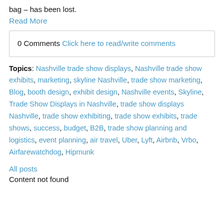bag – has been lost.
Read More
0 Comments Click here to read/write comments
Topics: Nashville trade show displays, Nashville trade show exhibits, marketing, skyline Nashville, trade show marketing, Blog, booth design, exhibit design, Nashville events, Skyline, Trade Show Displays in Nashville, trade show displays Nashville, trade show exhibiting, trade show exhibits, trade shows, success, budget, B2B, trade show planning and logistics, event planning, air travel, Uber, Lyft, Airbnb, Vrbo, Airfarewatchdog, Hipmunk
All posts
Content not found